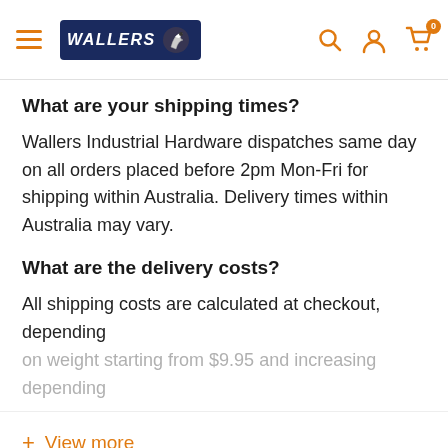Wallers Industrial Hardware — navigation bar with hamburger menu, logo, search, account, and cart icons
What are your shipping times?
Wallers Industrial Hardware dispatches same day on all orders placed before 2pm Mon-Fri for shipping within Australia. Delivery times within Australia may vary.
What are the delivery costs?
All shipping costs are calculated at checkout, depending on weight starting from $9.95 and increasing depending
+ View more